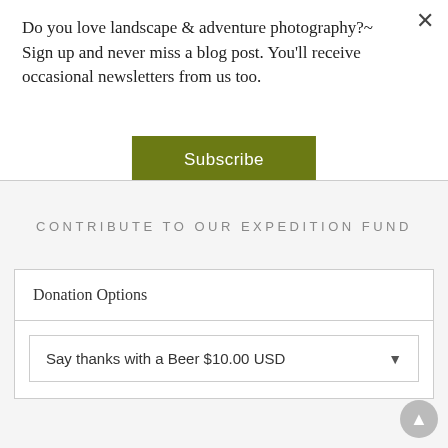Do you love landscape & adventure photography?~ Sign up and never miss a blog post. You'll receive occasional newsletters from us too.
Subscribe
CONTRIBUTE TO OUR EXPEDITION FUND
Donation Options
Say thanks with a Beer $10.00 USD
[Figure (other): PayNow button with Visa, Mastercard, American Express, and Discover card icons below]
[Figure (other): Scroll-up circular button in bottom right corner]